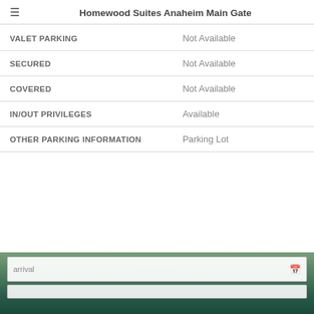Homewood Suites Anaheim Main Gate
|  |  |
| --- | --- |
| VALET PARKING | Not Available |
| SECURED | Not Available |
| COVERED | Not Available |
| IN/OUT PRIVILEGES | Available |
| OTHER PARKING INFORMATION | Parking Lot |
[Figure (photo): Hotel pool or outdoor area with tropical plants, partially obscured by UI elements showing arrival date input fields]